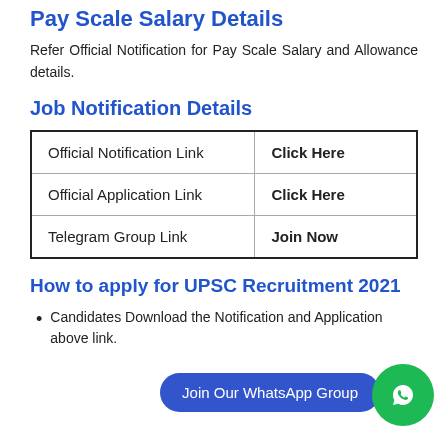Pay Scale Salary Details
Refer Official Notification for Pay Scale Salary and Allowance details.
Job Notification Details
|  |  |
| --- | --- |
| Official Notification Link | Click Here |
| Official Application Link | Click Here |
| Telegram Group Link | Join Now |
How to apply for UPSC Recruitment 2021
Candidates Download the Notification and Application above link.